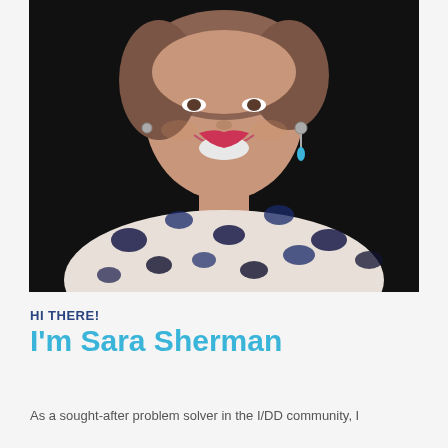[Figure (photo): Professional headshot of Sara Sherman, a smiling woman wearing a white and navy blue leopard-print blouse with silver and teal drop earrings, photographed against a dark background.]
HI THERE!
I'm Sara Sherman
As a sought-after problem solver in the I/DD community, I